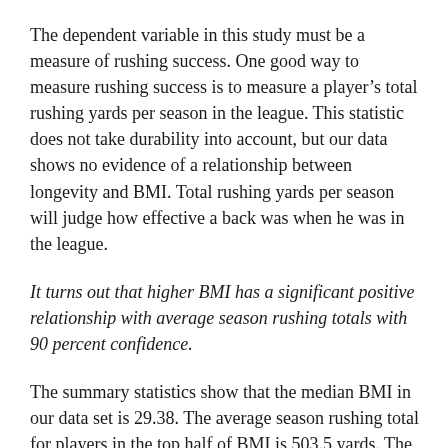The dependent variable in this study must be a measure of rushing success. One good way to measure rushing success is to measure a player's total rushing yards per season in the league. This statistic does not take durability into account, but our data shows no evidence of a relationship between longevity and BMI. Total rushing yards per season will judge how effective a back was when he was in the league.
It turns out that higher BMI has a significant positive relationship with average season rushing totals with 90 percent confidence.
The summary statistics show that the median BMI in our data set is 29.38. The average season rushing total for players in the top half of BMI is 503.5 yards. The average season rushing total for players in the bottom half of BMI is 385.9 yards. Players with higher BMI